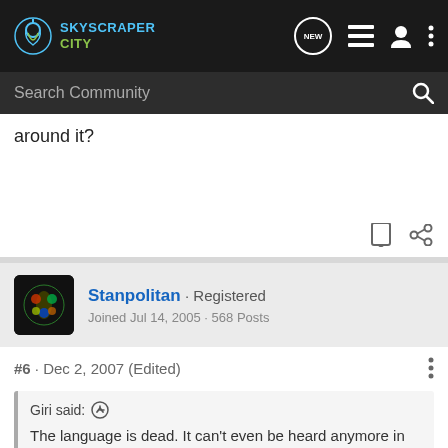SkyscraperCity - Search Community
around it?
Stanpolitan · Registered
Joined Jul 14, 2005 · 568 Posts
#6 · Dec 2, 2007 (Edited)
Giri said:
The language is dead. It can't even be heard anymore in markets. The town even has a policy to ban the Gascon language from street